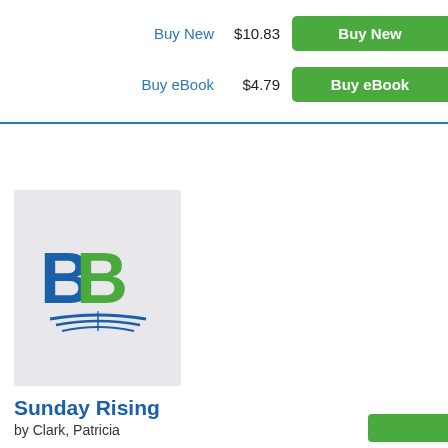Buy New   $10.83
Buy eBook   $4.79
[Figure (logo): BiggerBooks BB logo with two overlapping B letters (blue and green) above an open book graphic]
Sunday Rising
by Clark, Patricia
ISBN: 9781611860689
Copyright: 02/01/2013
Paperback